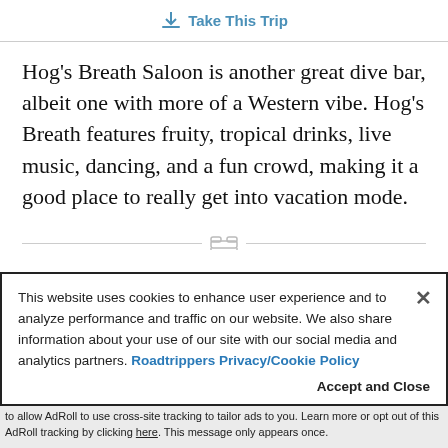Take This Trip
Hog's Breath Saloon is another great dive bar, albeit one with more of a Western vibe. Hog's Breath features fruity, tropical drinks, live music, dancing, and a fun crowd, making it a good place to really get into vacation mode.
This website uses cookies to enhance user experience and to analyze performance and traffic on our website. We also share information about your use of our site with our social media and analytics partners. Roadtrippers Privacy/Cookie Policy
Accept and Close
Your browser settings do not allow cross-site tracking for advertising. Click on this page to allow AdRoll to use cross-site tracking to tailor ads to you. Learn more or opt out of this AdRoll tracking by clicking here. This message only appears once.